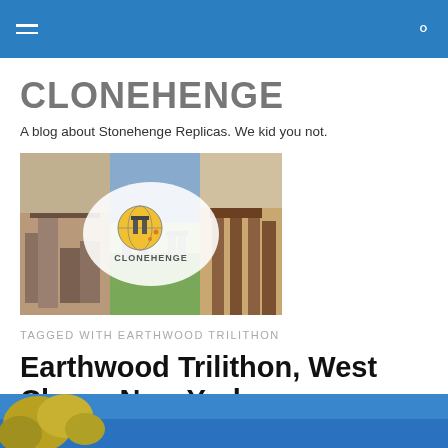Navigation bar with menu and search icons
CLONEHENGE
A blog about Stonehenge Replicas. We kid you not.
[Figure (photo): Banner image collage showing Stonehenge replicas with Clonehenge logo overlay]
TAGGED WITH EARTHWOOD TRILITHON
Earthwood Trilithon, West Chazy, New York
[Figure (photo): Bottom photo strip showing blue sky with trees]